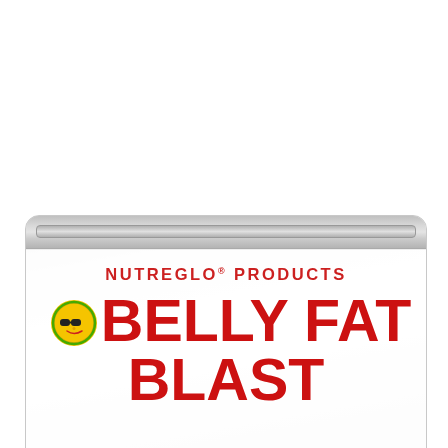[Figure (photo): A product photo of a Nutreglo Products 'Belly Fat Blast' supplement pouch/bag. The bag is a white/clear resealable zipper pouch. The top portion of the bag is visible against a white background. The label on the bag reads 'NUTREGLO® PRODUCTS' in bold red letters, followed by 'BELLY FAT' in large bold red letters, with a sun character logo wearing sunglasses on the left. The bottom of the image shows the beginning of the word 'BLAST' in large red letters.]